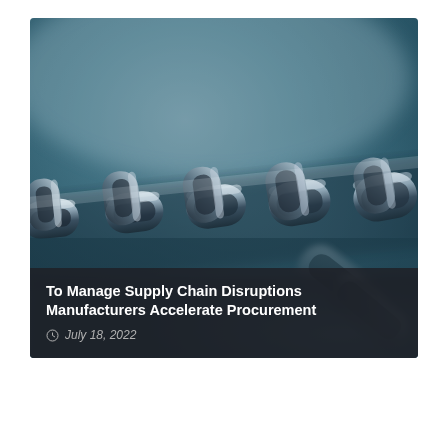[Figure (photo): Close-up photograph of a metal chain with blurred teal/blue background, chain links visible in sharp focus running diagonally across the frame]
To Manage Supply Chain Disruptions Manufacturers Accelerate Procurement
July 18, 2022